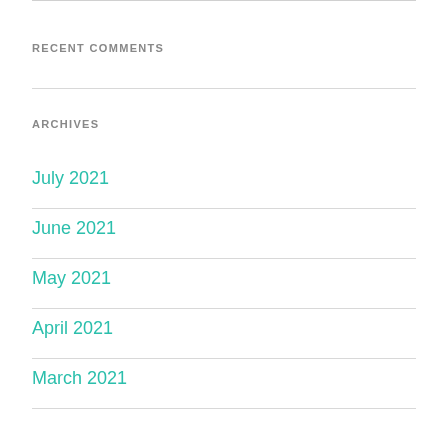RECENT COMMENTS
ARCHIVES
July 2021
June 2021
May 2021
April 2021
March 2021